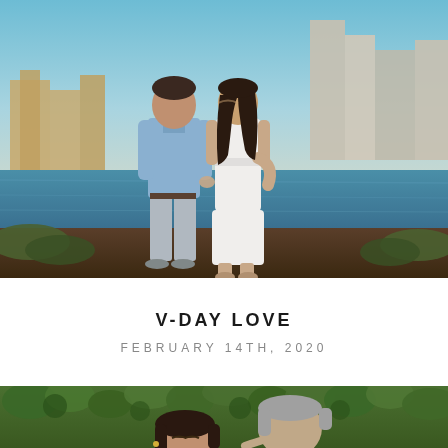[Figure (photo): Couple standing by a waterfront with a city skyline in the background. A woman in a white lace dress kisses a man in a blue button-up shirt and grey trousers. They are holding hands.]
V-DAY LOVE
FEBRUARY 14TH, 2020
[Figure (photo): Close-up of a couple among green ivy leaves. A man with grey hair in a blue suit kisses a dark-haired woman on the cheek. The woman has her eyes closed.]